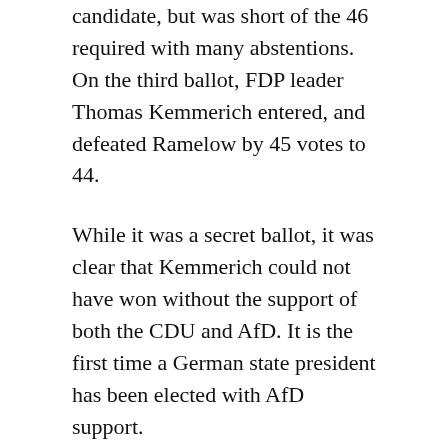candidate, but was short of the 46 required with many abstentions. On the third ballot, FDP leader Thomas Kemmerich entered, and defeated Ramelow by 45 votes to 44.
While it was a secret ballot, it was clear that Kemmerich could not have won without the support of both the CDU and AfD. It is the first time a German state president has been elected with AfD support.
After much condemnation, including from federal CDU Chancellor Angela Merkel, Kemmerich resigned on February 8. A new election is likely to be needed, but a two-thirds majority of the Thuringian parliament is required to approve it. Polls suggest large gains for the Left at the CDU's expense, and a Left/SPD/Green coalition would likely win an election.
The Thuringian crisis has had federal consequences